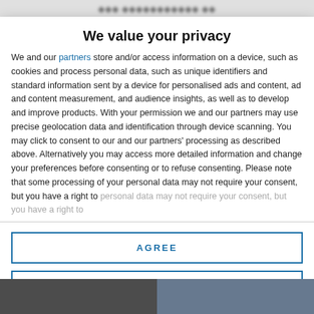We value your privacy
We value your privacy
We and our partners store and/or access information on a device, such as cookies and process personal data, such as unique identifiers and standard information sent by a device for personalised ads and content, ad and content measurement, and audience insights, as well as to develop and improve products. With your permission we and our partners may use precise geolocation data and identification through device scanning. You may click to consent to our and our partners' processing as described above. Alternatively you may access more detailed information and change your preferences before consenting or to refuse consenting. Please note that some processing of your personal data may not require your consent, but you have a right to
AGREE
MORE OPTIONS